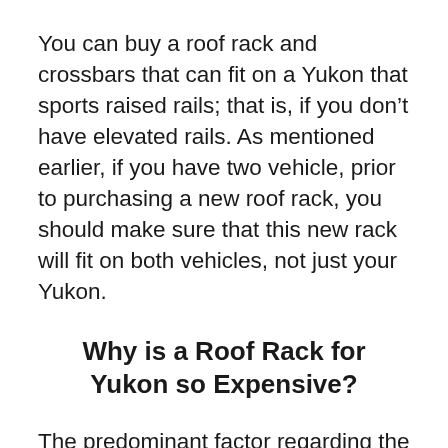You can buy a roof rack and crossbars that can fit on a Yukon that sports raised rails; that is, if you don't have elevated rails. As mentioned earlier, if you have two vehicle, prior to purchasing a new roof rack, you should make sure that this new rack will fit on both vehicles, not just your Yukon.
Why is a Roof Rack for Yukon so Expensive?
The predominant factor regarding the high cost of a roof rack, is the fact that most of the good ones are constructed out of high density aluminum. They also tend to sport a high-quality design and style. In addition, roof racks must have the ability to endure